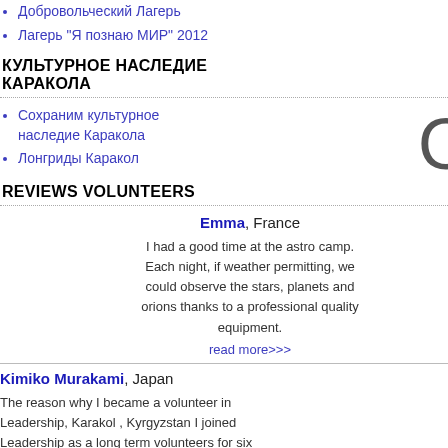Добровольческий Лагерь
Лагерь "Я познаю МИР" 2012
КУЛЬТУРНОЕ НАСЛЕДИЕ КАРАКОЛА
Сохраним культурное наследие Каракола
Лонгриды Каракол
REVIEWS VOLUNTEERS
Emma, France
I had a good time at the astro camp. Each night, if weather permitting, we could observe the stars, planets and orions thanks to a professional quality equipment.
read more>>>
Kimiko Murakami, Japan
The reason why I became a volunteer in Leadership, Karakol , Kyrgyzstan I joined Leadership as a long term volunteers for six
Статья о празднования Karakolnews.k
читать статью >>>